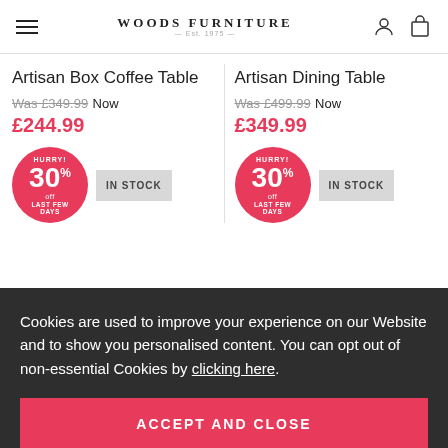Woods Furniture
Artisan Box Coffee Table
Was £349.99 Now £244.99
Artisan Dining Table
Was £499.99 Now £349.99
Cookies are used to improve your experience on our Website and to show you personalised content. You can opt out of non-essential Cookies by clicking here.
ACCEPT AND CLOSE